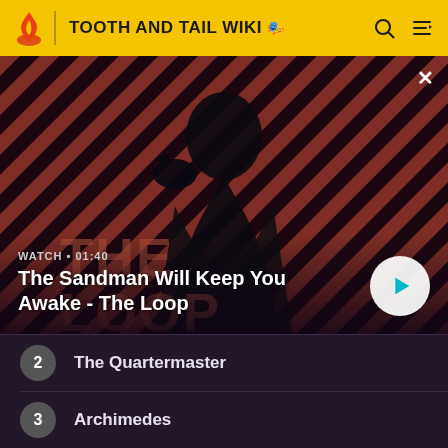TOOTH AND TAIL WIKI
[Figure (screenshot): Video thumbnail showing a dark figure with a raven on their shoulder against a diagonal striped red/dark background. Text overlay: WATCH • 01:40 / The Sandman Will Keep You Awake - The Loop]
The Sandman Will Keep You Awake - The Loop
2  The Quartermaster
3  Archimedes